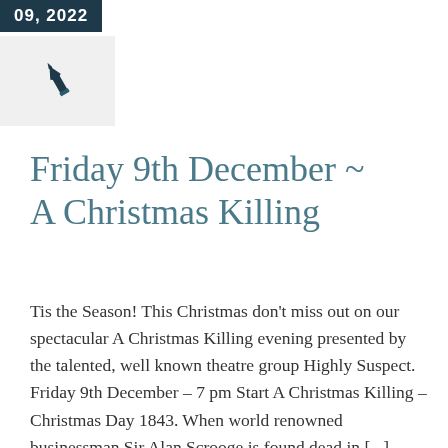09, 2022
[Figure (illustration): A dark teal fountain pen icon on a light grey background box]
Friday 9th December ~ A Christmas Killing
Tis the Season! This Christmas don't miss out on our spectacular A Christmas Killing evening presented by the talented, well known theatre group Highly Suspect. Friday 9th December – 7 pm Start A Christmas Killing – Christmas Day 1843. When world renowned businessman Sir Alan Scrooge is found dead in [...]